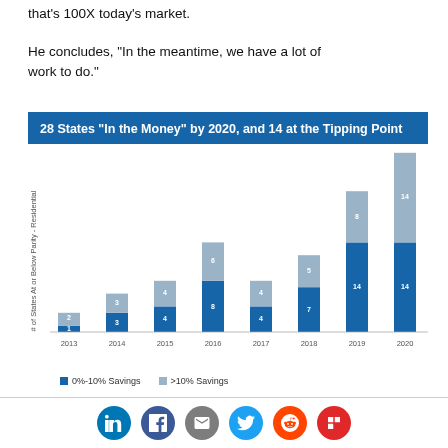that's 100X today's market.
He concludes, "In the meantime, we have a lot of work to do."
28 States "In the Money" by 2020, and 14 at the Tipping Point
[Figure (stacked-bar-chart): 28 States "In the Money" by 2020, and 14 at the Tipping Point]
Social share icons: LinkedIn, Facebook, Email, Twitter, Reddit, Flipboard